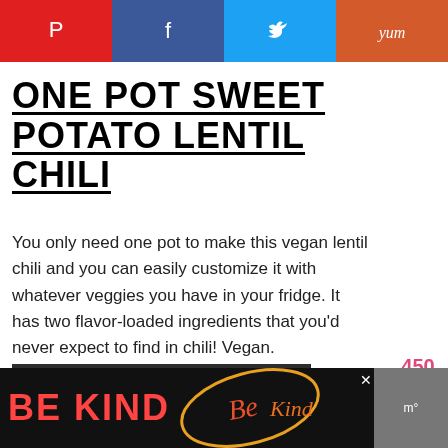[Figure (other): Social sharing bar with Pinterest (red), Facebook (blue), Twitter (light blue), Yummly (orange) buttons with icons]
ONE POT SWEET POTATO LENTIL CHILI
You only need one pot to make this vegan lentil chili and you can easily customize it with whatever veggies you have in your fridge. It has two flavor-loaded ingredients that you'd never expect to find in chili! Vegan.
CONTINUE READING
[Figure (other): 450 count with heart icon circle and pink search circle on right sidebar]
[Figure (other): Footer ad bar: BE KIND text in red with decorative art and close button, grey block on right]